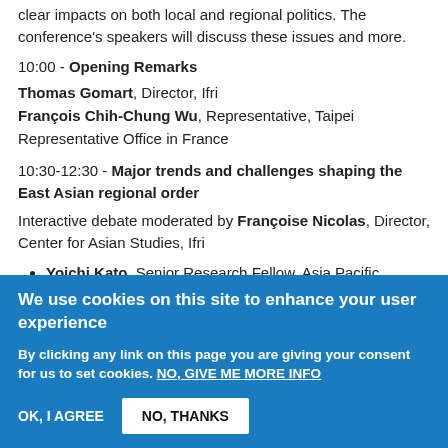clear impacts on both local and regional politics. The conference's speakers will discuss these issues and more.
10:00 - Opening Remarks
Thomas Gomart, Director, Ifri
François Chih-Chung Wu, Representative, Taipei Representative Office in France
10:30-12:30 - Major trends and challenges shaping the East Asian regional order
Interactive debate moderated by Françoise Nicolas, Director, Center for Asian Studies, Ifri
Yoichi Kato, Senior Research Fellow, Asia Pacific Initiative
Joonhyung Kim, Professor, Handong Global University
Cheng Chwee Kuik, Associate Professor, National University
We use cookies on this site to enhance your user experience
By clicking any link on this page you are giving your consent for us to set cookies. NO, GIVE ME MORE INFO
OK, I AGREE | NO, THANKS